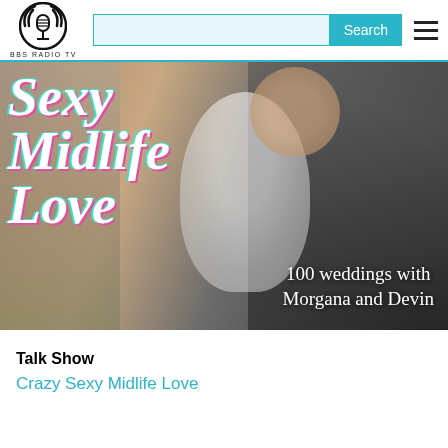BBS RADIO TV — Search — Navigation menu
[Figure (photo): Hero banner image showing a smiling couple embracing, with decorative cursive 'Sexy Midlife Love' text overlay in white/teal/pink, and subtitle '100 weddings with Morgana and Devin' in white text at bottom right.]
Talk Show
Crazy Sexy Midlife Love